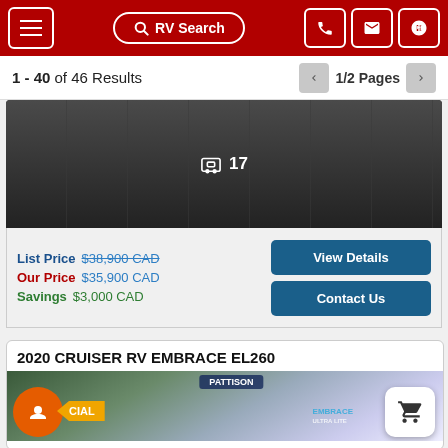Navigation bar with menu, RV Search, phone, email, and location buttons
1 - 40 of 46 Results   1/2 Pages
[Figure (photo): RV photo thumbnail showing a travel trailer, dark toned image with camera icon and photo count 17]
List Price $38,900 CAD  Our Price $35,900 CAD  Savings $3,000 CAD
View Details
Contact Us
2020 CRUISER RV EMBRACE EL260
[Figure (photo): RV listing photo showing 2020 Cruiser RV Embrace EL260 with SPECIAL badge, orange chat bubble, and cart button overlay]